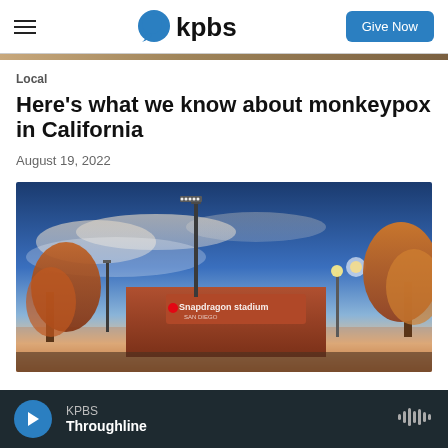KPBS — Give Now
Local
Here's what we know about monkeypox in California
August 19, 2022
[Figure (photo): Exterior photo of Snapdragon Stadium at dusk with stadium lights, autumn-colored trees, and a dramatic sky]
KPBS Throughline — audio player bar